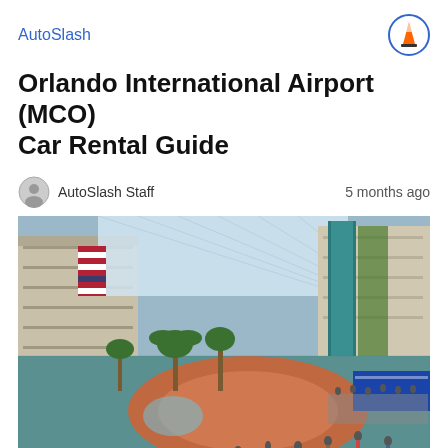AutoSlash
Orlando International Airport (MCO) Car Rental Guide
AutoSlash Staff   5 months ago
[Figure (photo): Interior atrium of Orlando International Airport (MCO) showing a large glass-roofed terminal with palm trees, a circular patterned floor in teal and terracotta, the American flag visible on the left, and crowds of travelers walking through the space.]